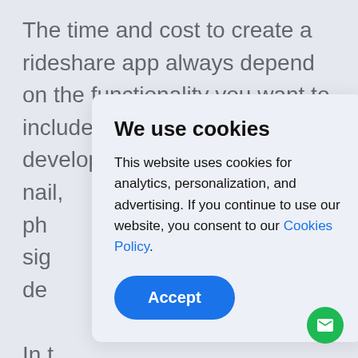The time and cost to create a rideshare app always depend on the functionality you want to include. For example, developers need 9 hours to c[…]nail, ph[…]sig[…]de[…] In t[…]sha[…]the cos[…]l sur[…]tes[…]r, which is the average software development r… in C…d N…th… F…
We use cookies

This website uses cookies for analytics, personalization, and advertising. If you continue to use our website, you consent to our Cookies Policy.

Accept